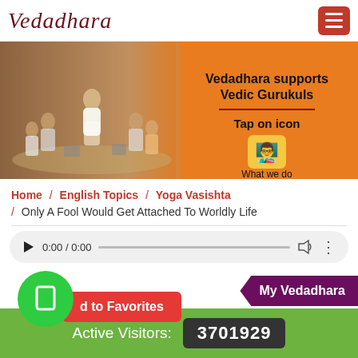Vedadhara
[Figure (photo): Banner showing students in a Vedic gurukul sitting in a circle with a teacher, with orange background on right side. Text: Vedadhara supports Vedic Gurukuls. Tap on icon. What we do.]
Home / English Topics / Yoga Vasishta / Only A Fool Would Get Attached To Worldly Life
[Figure (screenshot): Audio player showing 0:00 / 0:00 with play button, progress bar, volume icon, and more options icon]
My Vedadhara
Add to Favorites
Active Visitors: 3701929